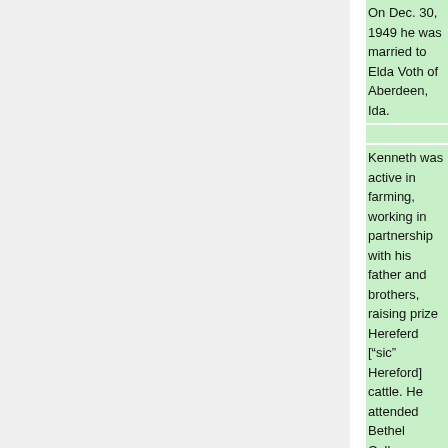On Dec. 30, 1949 he was married to Elda Voth of Aberdeen, Ida.
Kenneth was active in farming, working in partnership with his father and brothers, raising prize Hereferd [“sic” Hereford] cattle. He attended Bethel College, North Newton, Kan., for three years, and while in high school and in college took an active interest in sports. He enjoyed fishing, boating and hunting.
Kenneth was baptized upon his confession of faith Dec. 14, 1941 and was an active member